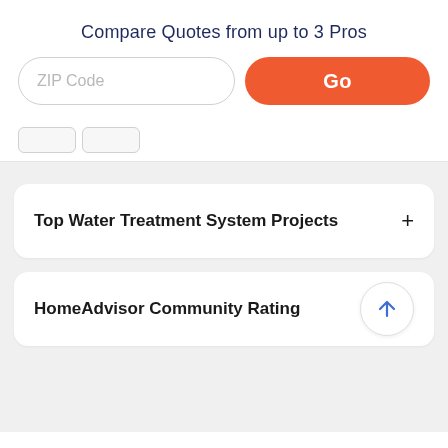Compare Quotes from up to 3 Pros
ZIP Code
Go
Top Water Treatment System Projects+
HomeAdvisor Community Rating